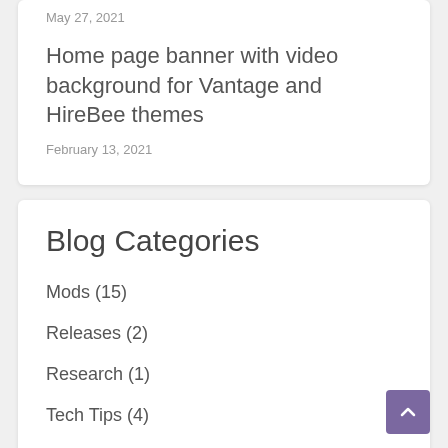May 27, 2021
Home page banner with video background for Vantage and HireBee themes
February 13, 2021
Blog Categories
Mods (15)
Releases (2)
Research (1)
Tech Tips (4)